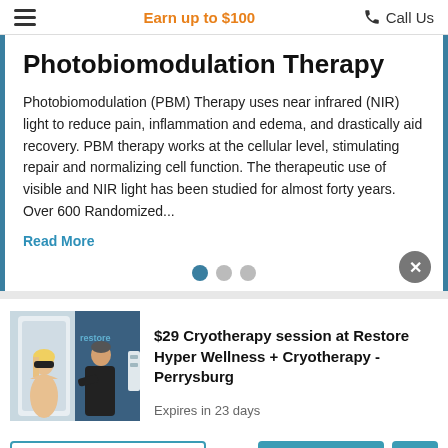Earn up to $100  Call Us
Photobiomodulation Therapy
Photobiomodulation (PBM) Therapy uses near infrared (NIR) light to reduce pain, inflammation and edema, and drastically aid recovery. PBM therapy works at the cellular level, stimulating repair and normalizing cell function. The therapeutic use of visible and NIR light has been studied for almost forty years. Over 600 Randomized...
Read More
[Figure (photo): Photo of a cryotherapy session with a person standing in a cryotherapy chamber and a staff member operating controls, with a 'restore' logo visible]
$29 Cryotherapy session at Restore Hyper Wellness + Cryotherapy - Perrysburg
Expires in 23 days
Enter your phone number
CLAIM OFFER
I agree to Terms
5 ★ (86)